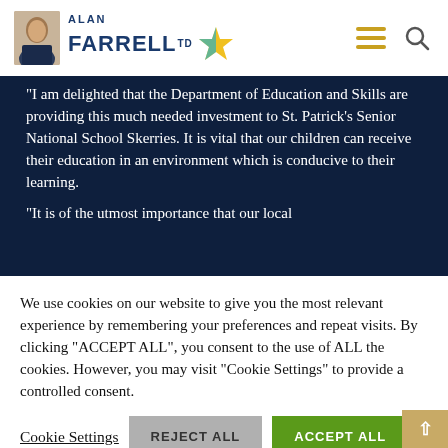Alan Farrell TD
"I am delighted that the Department of Education and Skills are providing this much needed investment to St. Patrick's Senior National School Skerries. It is vital that our children can receive their education in an environment which is conducive to their learning.
"It is of the utmost importance that our local
We use cookies on our website to give you the most relevant experience by remembering your preferences and repeat visits. By clicking "ACCEPT ALL", you consent to the use of ALL the cookies. However, you may visit "Cookie Settings" to provide a controlled consent.
Cookie Settings  REJECT ALL  ACCEPT ALL